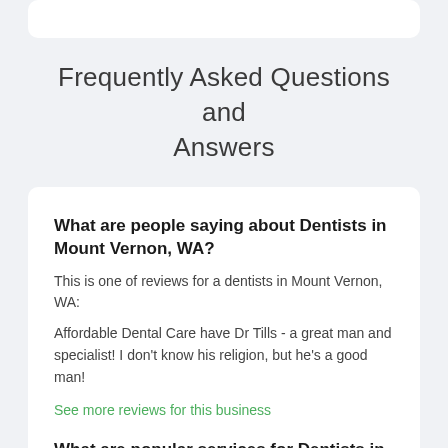Frequently Asked Questions and Answers
What are people saying about Dentists in Mount Vernon, WA?
This is one of reviews for a dentists in Mount Vernon, WA:
Affordable Dental Care have Dr Tills - a great man and specialist! I don't know his religion, but he's a good man!
See more reviews for this business
What are popular services for Dentists in Mount Vernon, WA?
Based on our statistics of searches the popular services